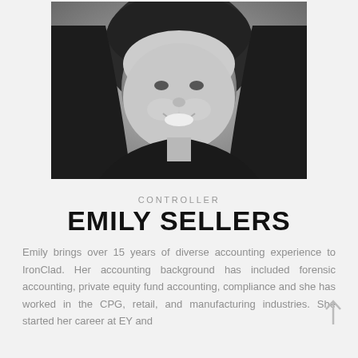[Figure (photo): Black and white headshot portrait of Emily Sellers, a smiling woman with dark shoulder-length hair]
CONTROLLER
EMILY SELLERS
Emily brings over 15 years of diverse accounting experience to IronClad. Her accounting background has included forensic accounting, private equity fund accounting, compliance and she has worked in the CPG, retail, and manufacturing industries. She started her career at EY and